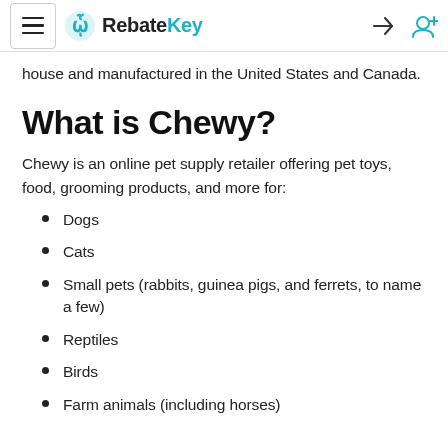RebateKey
house and manufactured in the United States and Canada.
What is Chewy?
Chewy is an online pet supply retailer offering pet toys, food, grooming products, and more for:
Dogs
Cats
Small pets (rabbits, guinea pigs, and ferrets, to name a few)
Reptiles
Birds
Farm animals (including horses)